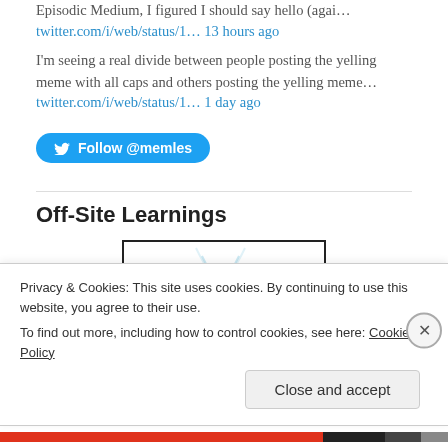Episodic Medium, I figured I should say hello (agai…
twitter.com/i/web/status/1… 13 hours ago
I'm seeing a real divide between people posting the yelling meme with all caps and others posting the yelling meme…
twitter.com/i/web/status/1… 1 day ago
[Figure (other): Blue Follow @memles Twitter button]
Off-Site Learnings
[Figure (illustration): Thumbnail image with wifi/radio signal icon inside a bordered rectangle]
Privacy & Cookies: This site uses cookies. By continuing to use this website, you agree to their use.
To find out more, including how to control cookies, see here: Cookie Policy
Close and accept